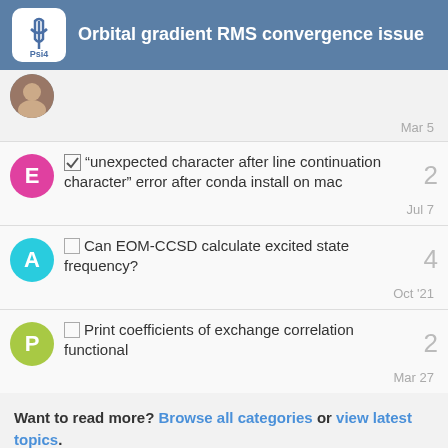Orbital gradient RMS convergence issue
☑ “unexpected character after line continuation character” error after conda install on mac
□ Can EOM-CCSD calculate excited state frequency?
□ Print coefficients of exchange correlation functional
Want to read more? Browse all categories or view latest topics.